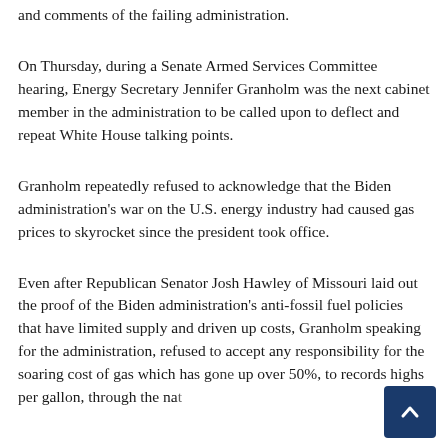and comments of the failing administration.
On Thursday, during a Senate Armed Services Committee hearing, Energy Secretary Jennifer Granholm was the next cabinet member in the administration to be called upon to deflect and repeat White House talking points.
Granholm repeatedly refused to acknowledge that the Biden administration's war on the U.S. energy industry had caused gas prices to skyrocket since the president took office.
Even after Republican Senator Josh Hawley of Missouri laid out the proof of the Biden administration's anti-fossil fuel policies that have limited supply and driven up costs, Granholm speaking for the administration, refused to accept any responsibility for the soaring cost of gas which has gone up over 50%, to records highs per gallon, through the nat…